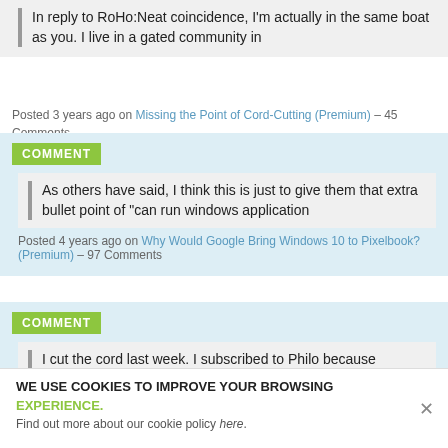In reply to RoHo:Neat coincidence, I'm actually in the same boat as you. I live in a gated community in
Posted 3 years ago on Missing the Point of Cord-Cutting (Premium) – 45 Comments
COMMENT
As others have said, I think this is just to give them that extra bullet point of "can run windows application
Posted 4 years ago on Why Would Google Bring Windows 10 to Pixelbook? (Premium) – 97 Comments
COMMENT
I cut the cord last week. I subscribed to Philo because someone in my household watches many of the channels
WE USE COOKIES TO IMPROVE YOUR BROWSING EXPERIENCE. Find out more about our cookie policy here.